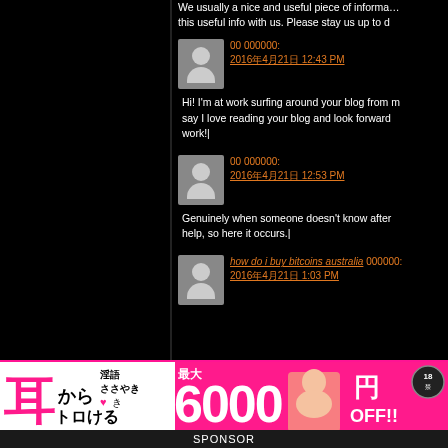We usually a nice and useful piece of information this useful info with us. Please stay us up to d
00 000000:
2016年4月21日 12:43 PM
Hi! I'm at work surfing around your blog from m say I love reading your blog and look forward work!|
00 000000:
2016年4月21日 12:53 PM
Genuinely when someone doesn't know after help, so here it occurs.|
how do i buy bitcoins australia 000000:
2016年4月21日 1:03 PM
[Figure (infographic): Japanese advertisement banner: pink background, large kanji text '耳からトロける', text '淫語ささやき', '最大6000円OFF!!' with a model photo and age rating badge]
SPONSOR